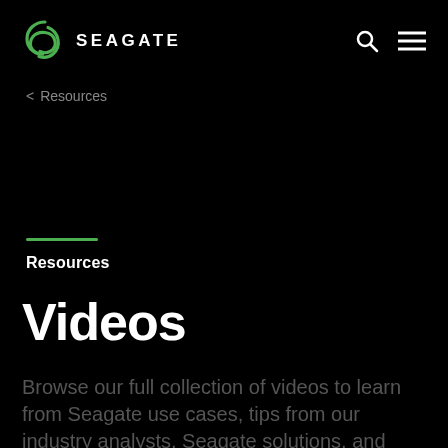[Figure (logo): Seagate logo with green spiral icon and SEAGATE text in white]
< Resources
Resources
Videos
Browse our full collection of videos to learn from Seagate use cases, tips from our industry analysts, Seagate solutions, and...